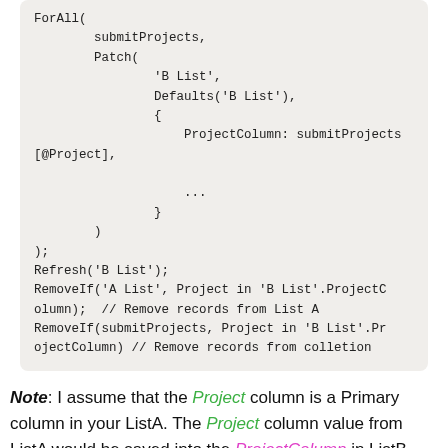ForAll(
    submitProjects,
    Patch(
            'B List',
            Defaults('B List'),
            {
                ProjectColumn: submitProjects[@Project],

                ...
            }
    )
);
Refresh('B List');
RemoveIf('A List', Project in 'B List'.ProjectColumn);  // Remove records from List A
RemoveIf(submitProjects, Project in 'B List'.ProjectColumn) // Remove records from colletion
Note: I assume that the Project column is a Primary column in your ListA. The Project column value from ListA would be saved into the ProjectColumn in ListB.